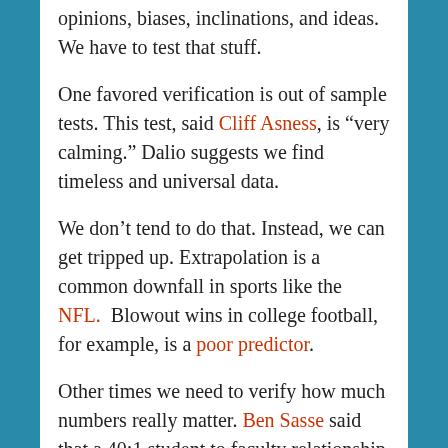opinions, biases, inclinations, and ideas. We have to test that stuff.
One favored verification is out of sample tests. This test, said Cliff Asness, is “very calming.” Dalio suggests we find timeless and universal data.
We don’t tend to do that. Instead, we can get tripped up. Extrapolation is a common downfall in sports like the NFL.  Blowout wins in college football, for example, is a poor predictor.
Other times we need to verify how much numbers really matter. Ben Sasse said that a 40:1 student to faculty relationship sounds a lot better than 300:1, but doesn’t matter. So long as there